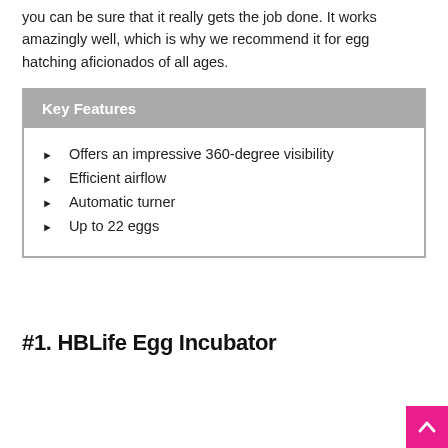you can be sure that it really gets the job done. It works amazingly well, which is why we recommend it for egg hatching aficionados of all ages.
Key Features
Offers an impressive 360-degree visibility
Efficient airflow
Automatic turner
Up to 22 eggs
#1. HBLife Egg Incubator